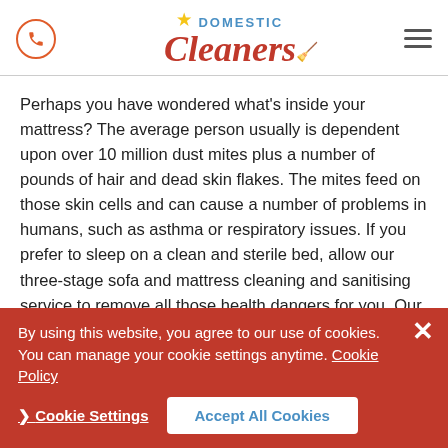Domestic Cleaners logo with phone icon and hamburger menu
Perhaps you have wondered what's inside your mattress? The average person usually is dependent upon over 10 million dust mites plus a number of pounds of hair and dead skin flakes. The mites feed on those skin cells and can cause a number of problems in humans, such as asthma or respiratory issues. If you prefer to sleep on a clean and sterile bed, allow our three-stage sofa and mattress cleaning and sanitising service to remove all those health dangers for you. Our cleaners will utilize a high-pressure vacuum to loosen and extract bugs, skin flakes, dust, and hair, eradicating them with ultraviolet light. Ultimately, we'll apply an anti-allergen treatment, leaving you
By using this website, you agree to our use of cookies. You can manage your cookie settings anytime. Cookie Policy
Cookie Settings
Accept All Cookies